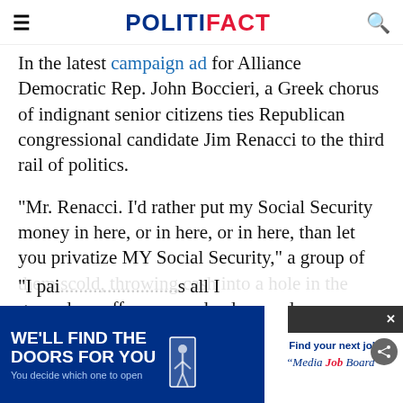POLITIFACT
In the latest campaign ad for Alliance Democratic Rep. John Boccieri, a Greek chorus of indignant senior citizens ties Republican congressional candidate Jim Renacci to the third rail of politics.
"Mr. Renacci. I'd rather put my Social Security money in here, or in here, or in here, than let you privatize MY Social Security," a group of them scold, throwing cash into a hole in the ground, a coffee can, and a dresser drawer
"I pai... s all I
[Figure (screenshot): Advertisement banner: 'WE'LL FIND THE DOORS FOR YOU - You decide which one to open' on blue background, and 'Find your next job - Media Job Board' on white background]